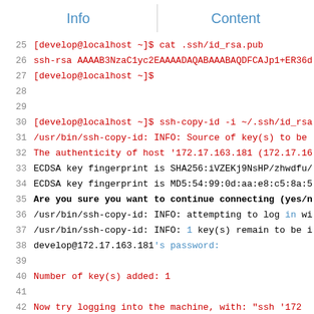Info | Content
Code terminal output showing SSH public key operations, lines 25-44+